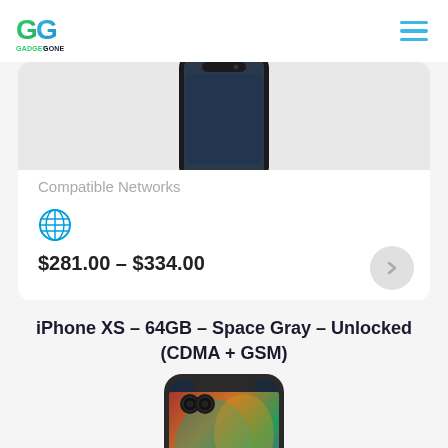[Figure (logo): GadgetGone logo with two overlapping G letters in green and blue gradient, with text GADGETGONE below]
[Figure (screenshot): Hamburger menu icon with three cyan/blue horizontal lines]
[Figure (photo): Top portion of an iPhone XR in black color, showing the front face with notch]
Compatible Networks
[Figure (logo): AT&T globe logo in blue]
$281.00 – $334.00
iPhone XS – 64GB – Space Gray – Unlocked (CDMA + GSM)
[Figure (photo): Top portion of an iPhone XS in Space Gray showing the back with dual camera and colorful abstract wallpaper visible on screen]